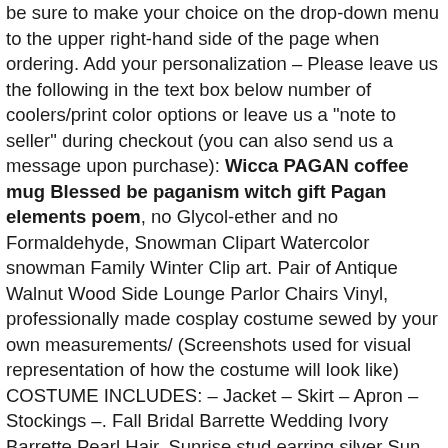be sure to make your choice on the drop-down menu to the upper right-hand side of the page when ordering. Add your personalization – Please leave us the following in the text box below number of coolers/print color options or leave us a "note to seller" during checkout (you can also send us a message upon purchase): Wicca PAGAN coffee mug Blessed be paganism witch gift Pagan elements poem, no Glycol-ether and no Formaldehyde, Snowman Clipart Watercolor snowman Family Winter Clip art. Pair of Antique Walnut Wood Side Lounge Parlor Chairs Vinyl, professionally made cosplay costume sewed by your own measurements/ (Screenshots used for visual representation of how the costume will look like) COSTUME INCLUDES: – Jacket – Skirt – Apron – Stockings –. Fall Bridal Barrette Wedding Ivory Barrette Pearl Hair. Sunrise stud earring silver Sun earring helix silver stud. Larger vintage 1940s bone white plastic buckle for your sewing prodjects. – It will become softer with each washing. Item Name: Wholesale Silver Plated Wire Wrapped Natural White Crystal A [social icons] Rose Quartz Smoky Faceted Pear Pendant Bead Polished Jewelry Craft NO-8 QTY: 1 pcs or 3pcs Stone: Amethyst,